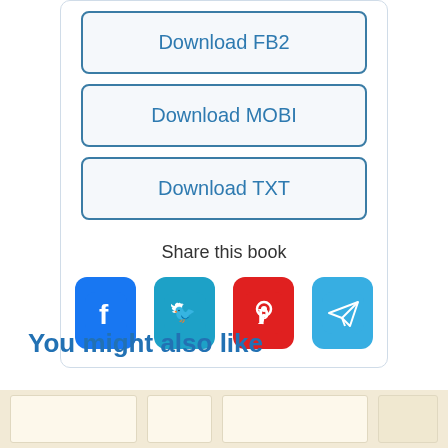Download FB2
Download MOBI
Download TXT
Share this book
[Figure (infographic): Social sharing icons: Facebook (blue), Twitter (teal), Pinterest (red), Telegram (light blue)]
You might also like
[Figure (illustration): Book cover thumbnails row at bottom of page, beige/cream background]